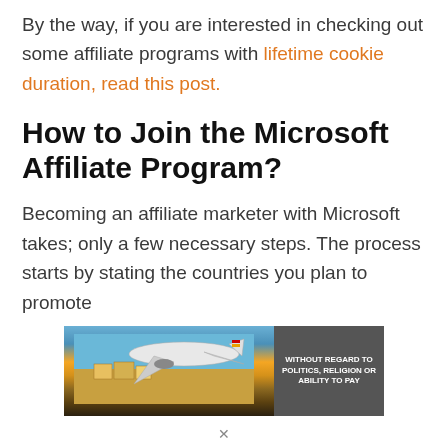By the way, if you are interested in checking out some affiliate programs with lifetime cookie duration, read this post.
How to Join the Microsoft Affiliate Program?
Becoming an affiliate marketer with Microsoft takes; only a few necessary steps. The process starts by stating the countries you plan to promote
[Figure (photo): Advertisement banner showing an airplane being loaded with cargo, with text overlay reading 'WITHOUT REGARD TO POLITICS, RELIGION OR ABILITY TO PAY']